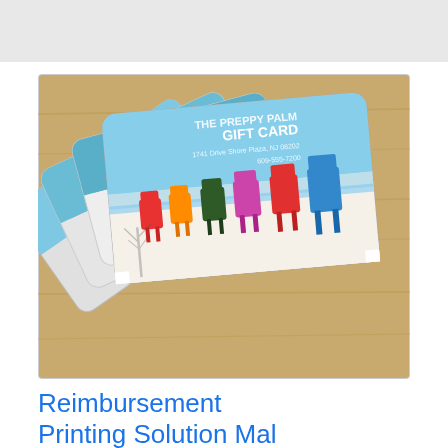[Figure (photo): Fan of gift cards from 'The Preppy Palm' showing colorful Adirondack beach chairs on a sandy beach with blue sky. Cards are fanned out on a wooden surface. The top card reads 'THE PREPPY PALM GIFT CARD' with an address and phone number.]
Reimbursement Printing Solution Ma...